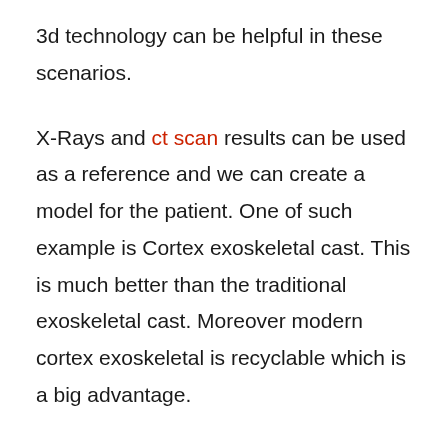3d technology can be helpful in these scenarios.
X-Rays and ct scan results can be used as a reference and we can create a model for the patient. One of such example is Cortex exoskeletal cast. This is much better than the traditional exoskeletal cast. Moreover modern cortex exoskeletal is recyclable which is a big advantage.
3D Printing Technology is really enhancing and making our lives better. Soon we will find the